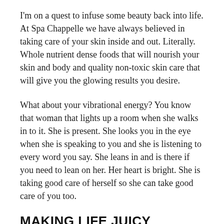I'm on a quest to infuse some beauty back into life. At Spa Chappelle we have always believed in taking care of your skin inside and out. Literally. Whole nutrient dense foods that will nourish your skin and body and quality non-toxic skin care that will give you the glowing results you desire.
What about your vibrational energy? You know that woman that lights up a room when she walks in to it. She is present. She looks you in the eye when she is speaking to you and she is listening to every word you say. She leans in and is there if you need to lean on her. Her heart is bright. She is taking good care of herself so she can take good care of you too.
MAKING LIFE JUICY AGAIN...
I recently started offering an in spa experience called the Organic Beauty Transformation. This includes a 45 minutes wellness consultation and a Spa Chappelle Facial. In